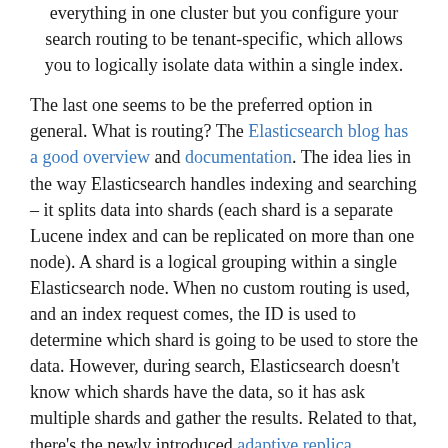everything in one cluster but you configure your search routing to be tenant-specific, which allows you to logically isolate data within a single index.
The last one seems to be the preferred option in general. What is routing? The Elasticsearch blog has a good overview and documentation. The idea lies in the way Elasticsearch handles indexing and searching – it splits data into shards (each shard is a separate Lucene index and can be replicated on more than one node). A shard is a logical grouping within a single Elasticsearch node. When no custom routing is used, and an index request comes, the ID is used to determine which shard is going to be used to store the data. However, during search, Elasticsearch doesn't know which shards have the data, so it has ask multiple shards and gather the results. Related to that, there's the newly introduced adaptive replica selection, where the proper shard replica is selected intelligently, rather than using round-robin.